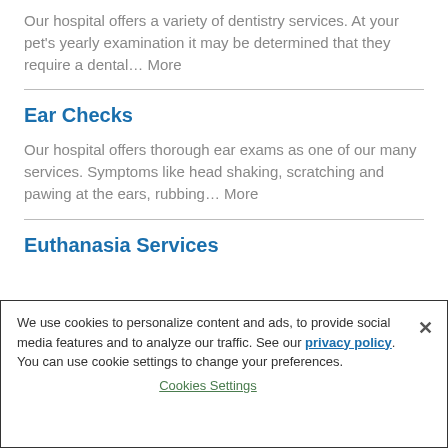Our hospital offers a variety of dentistry services. At your pet's yearly examination it may be determined that they require a dental… More
Ear Checks
Our hospital offers thorough ear exams as one of our many services. Symptoms like head shaking, scratching and pawing at the ears, rubbing… More
Euthanasia Services
We use cookies to personalize content and ads, to provide social media features and to analyze our traffic. See our privacy policy. You can use cookie settings to change your preferences.
Cookies Settings